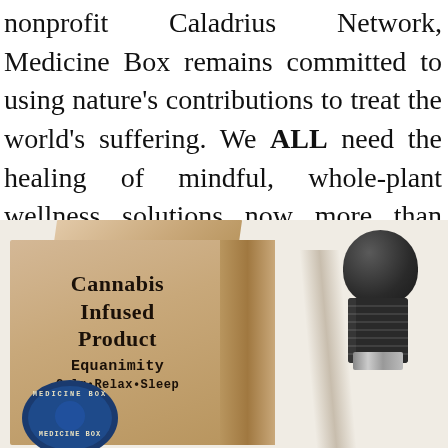nonprofit Caladrius Network, Medicine Box remains committed to using nature's contributions to treat the world's suffering. We ALL need the healing of mindful, whole-plant wellness solutions now more than ever. Reinvigorated and renewed, Medicine Box looks forward to bringing you along for the journey.
[Figure (photo): A kraft cardboard box labeled 'Cannabis Infused Product Equanimity Calm·Relax·Sleep' with the Medicine Box logo visible at the bottom, alongside a dark dropper bottle with a rubber bulb cap, photographed against a white background.]